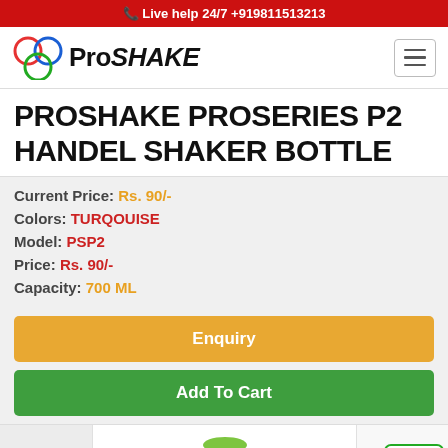Live help 24/7 +919811513213
[Figure (logo): ProSHAKE brand logo with Olympic-style overlapping circles in red, blue and green]
PROSHAKE PROSERIES P2 HANDEL SHAKER BOTTLE
Current Price: Rs. 90/-
Colors: TURQOUISE
Model: PSP2
Price: Rs. 90/-
Capacity: 700 ML
Enquiry
Add To Cart
[Figure (photo): Product image strip showing green shaker bottle and OK/certification logo]